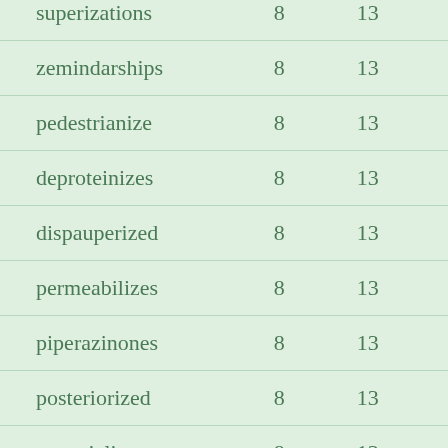| superizations | 8 | 13 |
| zemindarships | 8 | 13 |
| pedestrianize | 8 | 13 |
| deproteinizes | 8 | 13 |
| dispauperized | 8 | 13 |
| permeabilizes | 8 | 13 |
| piperazinones | 8 | 13 |
| posteriorized | 8 | 13 |
| respatializes | 8 | 13 |
| respecialized | 8 | 13 |